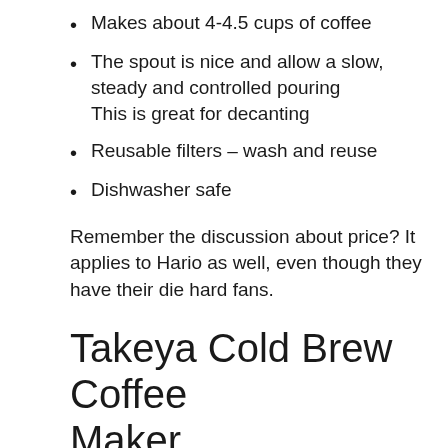Makes about 4-4.5 cups of coffee
The spout is nice and allow a slow, steady and controlled pouring This is great for decanting
Reusable filters – wash and reuse
Dishwasher safe
Remember the discussion about price? It applies to Hario as well, even though they have their die hard fans.
Takeya Cold Brew Coffee Maker
[Figure (photo): Bottom portion of a Takeya Cold Brew Coffee Maker product image, showing the dark-colored base of the device]